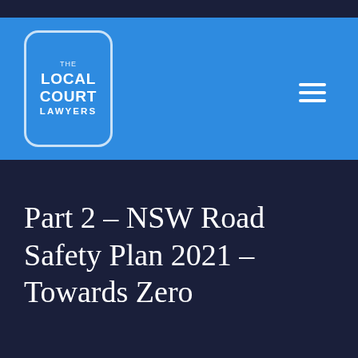[Figure (logo): The Local Court Lawyers logo — white rounded rectangle border containing text: THE / LOCAL / COURT / LAWYERS in white on blue background]
Part 2 – NSW Road Safety Plan 2021 – Towards Zero